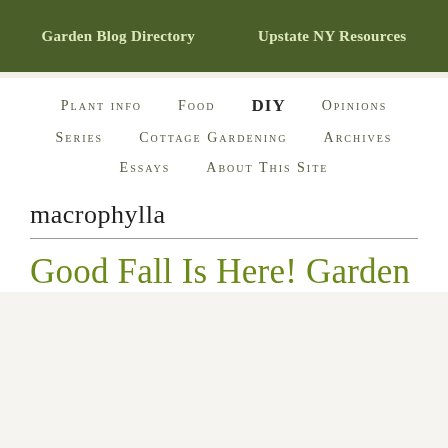Garden Blog Directory    Upstate NY Resources
Plant info    Food    DIY    Opinions
Series    Cottage Gardening    Archives
Essays    About This Site
macrophylla
Good Fall Is Here! Garden